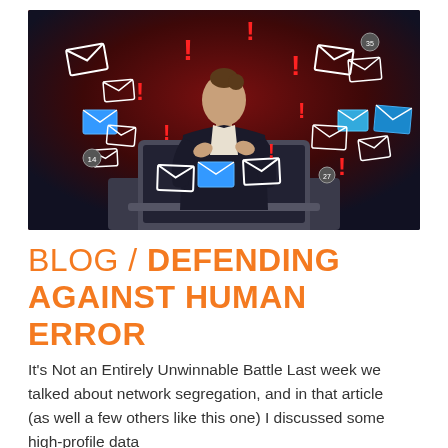[Figure (photo): A woman in a business suit sitting at a laptop, surrounded by floating email envelope icons, red exclamation marks, and blue envelope icons on a dark red background, illustrating email threats or information overload.]
BLOG / DEFENDING AGAINST HUMAN ERROR
It's Not an Entirely Unwinnable Battle Last week we talked about network segregation, and in that article (as well a few others like this one) I discussed some high-profile data